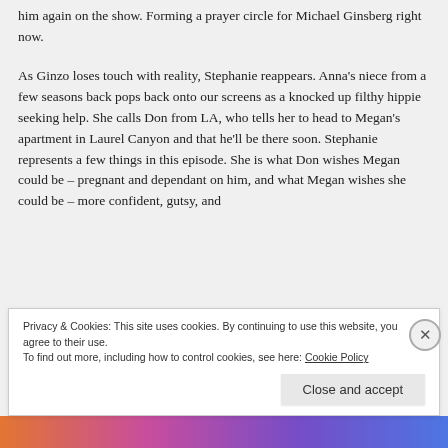him again on the show. Forming a prayer circle for Michael Ginsberg right now.
As Ginzo loses touch with reality, Stephanie reappears. Anna's niece from a few seasons back pops back onto our screens as a knocked up filthy hippie seeking help. She calls Don from LA, who tells her to head to Megan's apartment in Laurel Canyon and that he'll be there soon. Stephanie represents a few things in this episode. She is what Don wishes Megan could be – pregnant and dependant on him, and what Megan wishes she could be – more confident, gutsy, and
Privacy & Cookies: This site uses cookies. By continuing to use this website, you agree to their use.
To find out more, including how to control cookies, see here: Cookie Policy
Close and accept